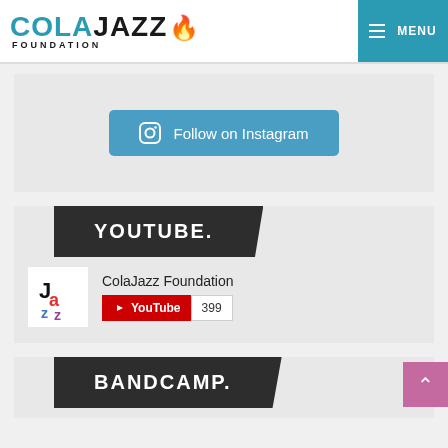COLAJAZZ FOUNDATION | MENU
[Figure (screenshot): Follow on Instagram button with Instagram icon]
[Figure (screenshot): YouTube section header dark banner reading YOUTUBE. with ColaJazz Foundation YouTube channel showing 399 subscribers]
[Figure (screenshot): BANDCAMP. section header dark banner with back-to-top pink button]